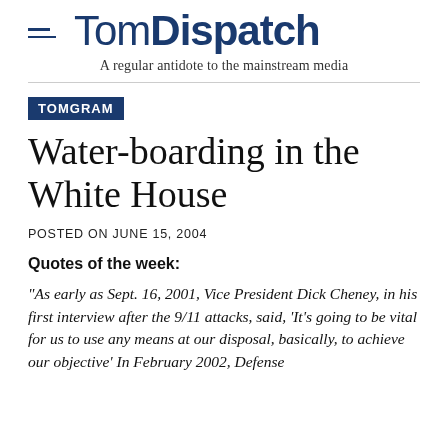TomDispatch — A regular antidote to the mainstream media
TOMGRAM
Water-boarding in the White House
POSTED ON JUNE 15, 2004
Quotes of the week:
"As early as Sept. 16, 2001, Vice President Dick Cheney, in his first interview after the 9/11 attacks, said, 'It's going to be vital for us to use any means at our disposal, basically, to achieve our objective' In February 2002, Defense